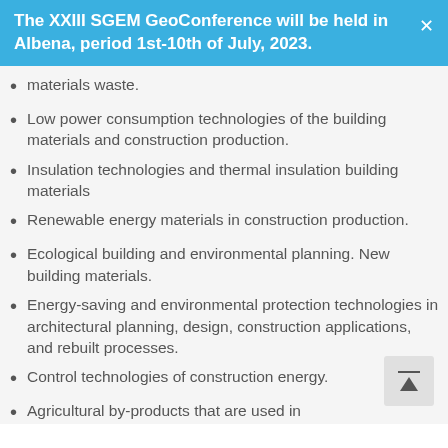The XXIII SGEM GeoConference will be held in Albena, period 1st-10th of July, 2023.
materials waste.
Low power consumption technologies of the building materials and construction production.
Insulation technologies and thermal insulation building materials
Renewable energy materials in construction production.
Ecological building and environmental planning. New building materials.
Energy-saving and environmental protection technologies in architectural planning, design, construction applications, and rebuilt processes.
Control technologies of construction energy.
Agricultural by-products that are used in